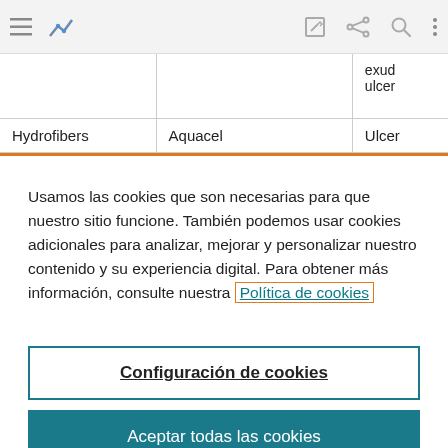[Figure (screenshot): Browser toolbar with hamburger menu, chart icon, edit icon, share icon, search icon, and more options icon]
|  |  | exud ulcer |
| --- | --- | --- |
| Hydrofibers | Aquacel | Ulcer |
Usamos las cookies que son necesarias para que nuestro sitio funcione. También podemos usar cookies adicionales para analizar, mejorar y personalizar nuestro contenido y su experiencia digital. Para obtener más información, consulte nuestra Política de cookies
Configuración de cookies
Aceptar todas las cookies